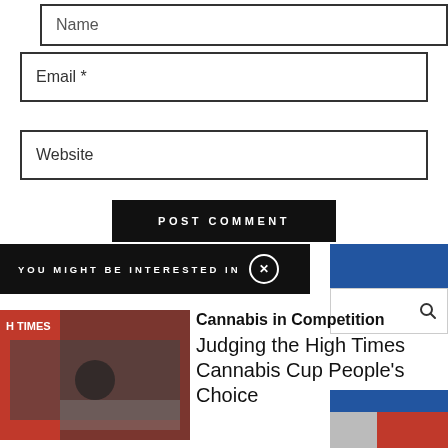[Figure (screenshot): Web form input field labeled 'Name']
[Figure (screenshot): Web form input field labeled 'Email *']
[Figure (screenshot): Web form input field labeled 'Website']
[Figure (screenshot): POST COMMENT button, black background white text]
YOU MIGHT BE INTERESTED IN
[Figure (photo): High Times magazine cover thumbnail showing people]
Cannabis in Competition
Judging the High Times Cannabis Cup People's Choice